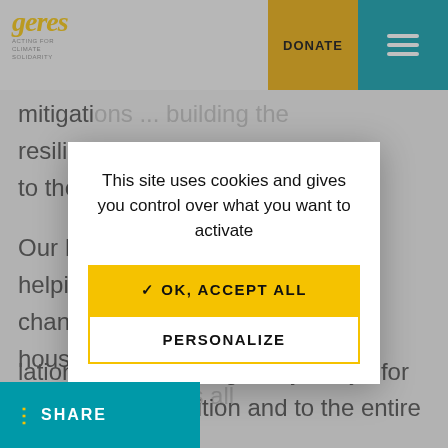geres ACTING FOR CLIMATE SOLIDARITY | DONATE | [menu]
mitigati... ...g the resilien... ...y cities to the e...
Our Mo... ...ed to helping... ...mate change... ...a safe house t... ...as been b... ...ets all the env... ...eco- house a... ...olia.
[Figure (screenshot): Cookie consent modal dialog on the Geres website with message 'This site uses cookies and gives you control over what you want to activate' and two buttons: 'OK, ACCEPT ALL' (yellow) and 'PERSONALIZE' (white with yellow border)]
...lations to our colleague Oyuntuya for this great recognition and to the entire team
SHARE